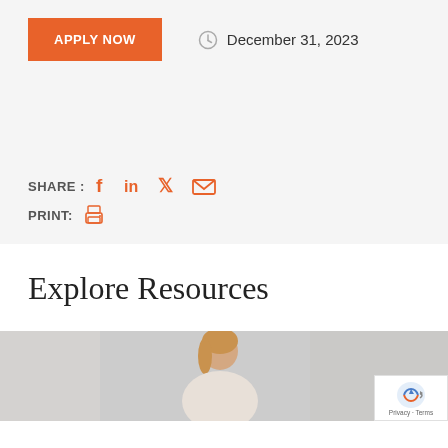APPLY NOW
December 31, 2023
SHARE : [facebook] [linkedin] [twitter] [email]
PRINT: [printer]
Explore Resources
[Figure (photo): Woman sitting at a desk, viewed from above in a bright room. A reCAPTCHA Privacy · Terms badge appears in the lower right corner.]